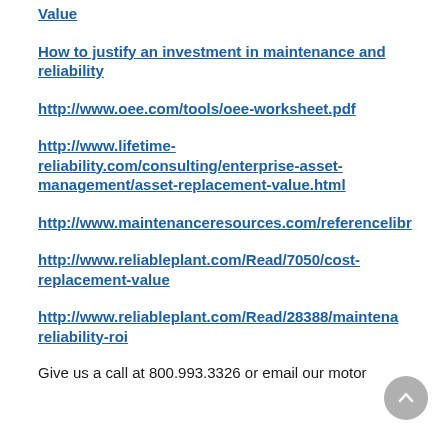Value
How to justify an investment in maintenance and reliability
http://www.oee.com/tools/oee-worksheet.pdf
http://www.lifetime-reliability.com/consulting/enterprise-asset-management/asset-replacement-value.html
http://www.maintenanceresources.com/referencelibr
http://www.reliableplant.com/Read/7050/cost-replacement-value
http://www.reliableplant.com/Read/28388/maintena reliability-roi
Give us a call at 800.993.3326 or email our motor